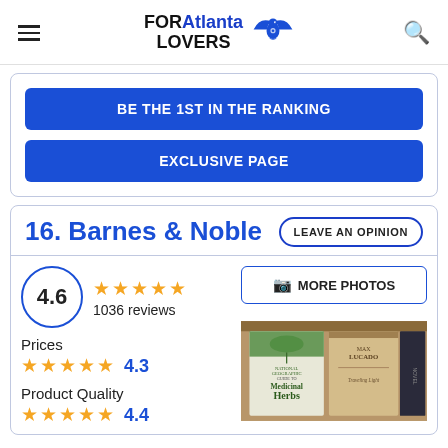FORAtlanta LOVERS
BE THE 1ST IN THE RANKING
EXCLUSIVE PAGE
16. Barnes & Noble
LEAVE AN OPINION
4.6
1036 reviews
MORE PHOTOS
Prices
4.3
Product Quality
4.4
[Figure (photo): Books on a shelf including National Geographic Guide to Medicinal Herbs and Max Lucado book]